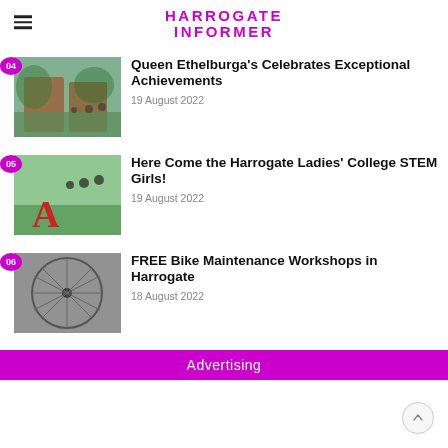Harrogate Informer
Queen Ethelburga's Celebrates Exceptional Achievements
19 August 2022
Here Come the Harrogate Ladies' College STEM Girls!
19 August 2022
FREE Bike Maintenance Workshops in Harrogate
18 August 2022
Advertising